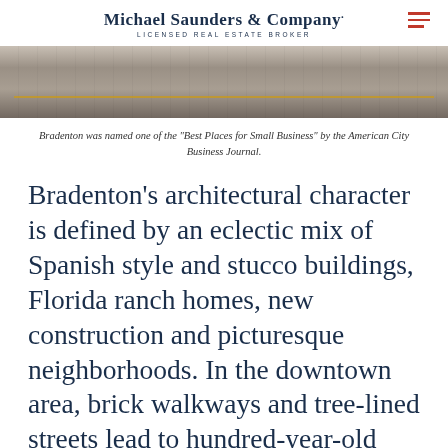Michael Saunders & Company. LICENSED REAL ESTATE BROKER
[Figure (photo): Close-up photo of a road or walkway surface with horizontal lines and a yellow stripe, shown from above.]
Bradenton was named one of the “Best Places for Small Business” by the American City Business Journal.
Bradenton’s architectural character is defined by an eclectic mix of Spanish style and stucco buildings, Florida ranch homes, new construction and picturesque neighborhoods. In the downtown area, brick walkways and tree-lined streets lead to hundred-year-old storefronts with iron balconies that